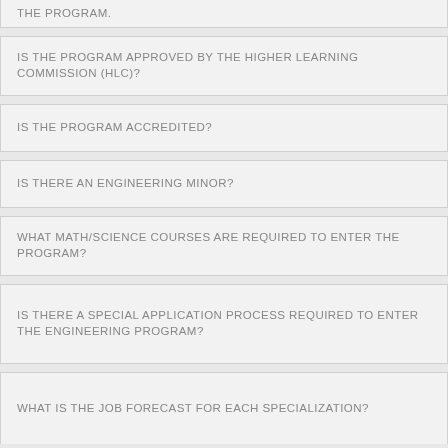THE PROGRAM.
IS THE PROGRAM APPROVED BY THE HIGHER LEARNING COMMISSION (HLC)?
IS THE PROGRAM ACCREDITED?
IS THERE AN ENGINEERING MINOR?
WHAT MATH/SCIENCE COURSES ARE REQUIRED TO ENTER THE PROGRAM?
IS THERE A SPECIAL APPLICATION PROCESS REQUIRED TO ENTER THE ENGINEERING PROGRAM?
WHAT IS THE JOB FORECAST FOR EACH SPECIALIZATION?